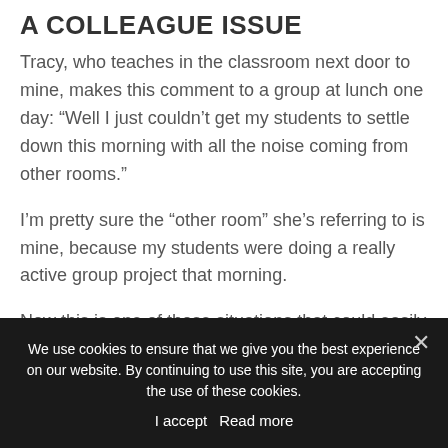A COLLEAGUE ISSUE
Tracy, who teaches in the classroom next door to mine, makes this comment to a group at lunch one day: “Well I just couldn’t get my students to settle down this morning with all the noise coming from other rooms.”
I’m pretty sure the “other room” she’s referring to is mine, because my students were doing a really active group project that morning.
Now this is one of those situations that could easily turn into a bigger issue: I could pretend not to hear Tracy,
We use cookies to ensure that we give you the best experience on our website. By continuing to use this site, you are accepting the use of these cookies.
I accept   Read more